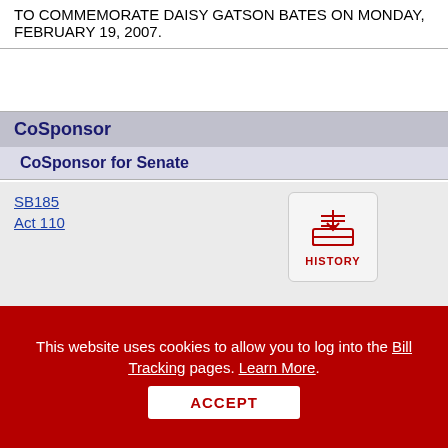TO COMMEMORATE DAISY GATSON BATES ON MONDAY, FEBRUARY 19, 2007.
CoSponsor
CoSponsor for Senate
SB185
Act 110
[Figure (other): History icon button showing inbox tray with HISTORY label]
TO AMEND THE STATE SALES AND USE TAX RATE ON FOOD AND FOOD INGREDIENTS.
SB189
Act 128
[Figure (other): History icon button showing inbox tray with HISTORY label]
This website uses cookies to allow you to log into the Bill Tracking pages. Learn More.
ACCEPT